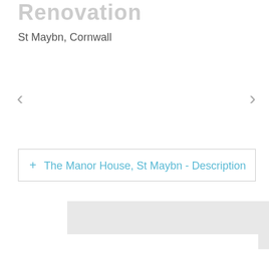Renovation
St Maybn, Cornwall
<
>
+ The Manor House, St Maybn - Description
[Figure (other): Partially visible gray content blocks at bottom of page]